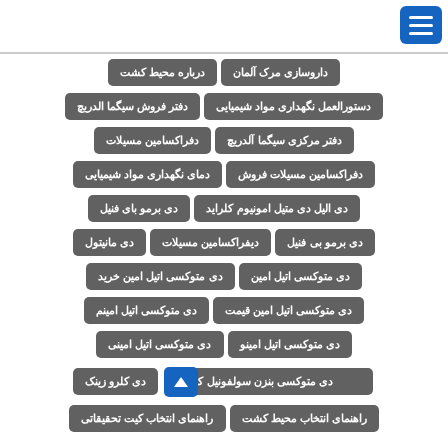درباره محیط کشت
داروسازی مرک آلمان
دفتر فروش سیگما الدریچ
دستورالعمل نگهداری مواد شیمیایی
دفراکسامین مسیلات
دفتر مرکزی سیگما آلدریچ
دمای نگهداری مواد شیمیایی
دفراکسامین مسیلات فروش
دی برمو بای فنیل
دی الیل دی متیل امونیوم کلراید
دی مانیتول
دیفراکسامین مسیلات
دی برمو بی فنیل
دی متوکسی اتیل امین خرید
دی متوکسی اتیل امین
دی متوکسی اتیل امینم
دی متوکسی اتیل امین قیمت
دی متوکسی اتیل امینی
دی متوکسی اتیل امینو
دی کلرو زینک
دی متوکسی بنزن سولفونیل کلراید
راهنمای انتخاب کیت تحقیقاتی
راهنمای انتخاب محیط کشت